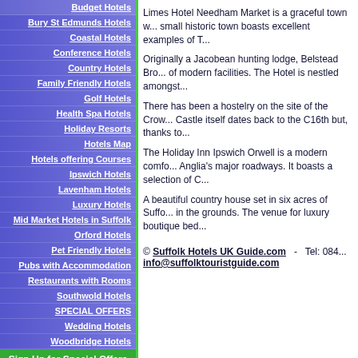Budget Hotels
Bury St Edmunds Hotels
Coastal Hotels
Conference Hotels
Country Hotels
Family Friendly Hotels
Golf Hotels
Health Spa Hotels
Holiday Resorts
Hotels Map
Hotels offering Courses
Ipswich Hotels
Lavenham Hotels
Luxury Hotels
Mid Market Hotels in Suffolk
Orford Hotels
Pet Friendly Hotels
Pubs with Accommodation
Restaurants with Rooms
Southwold Hotels
SPECIAL OFFERS
Wedding Hotels
Woodbridge Hotels
Sign Up for Special Offers
Limes Hotel Needham Market is a graceful town w... small historic town boasts excellent examples of T...
Originally a Jacobean hunting lodge, Belstead Bro... of modern facilities. The Hotel is nestled amongst...
There has been a hostelry on the site of the Crow... Castle itself dates back to the C16th but, thanks to...
The Holiday Inn Ipswich Orwell is a modern comfo... Anglia's major roadways. It boasts a selection of C...
A beautiful country house set in six acres of Suffo... in the grounds. The venue for luxury boutique bed...
© Suffolk Hotels UK Guide.com  -  Tel: 084... info@suffolktouristguide.com